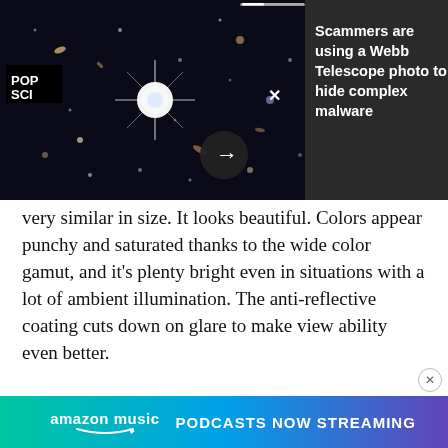[Figure (screenshot): A screenshot showing a Webb Space Telescope deep field image (galaxies on black background) with POP SCI logo in top left, three-dot menu and X close button overlaid, and a right arrow navigation button. To the right is a dark panel with white text reading: Scammers are using a Webb Telescope photo to hide complex malware]
very similar in size. It looks beautiful. Colors appear punchy and saturated thanks to the wide color gamut, and it's plenty bright even in situations with a lot of ambient illumination. The anti-reflective coating cuts down on glare to make view ability even better.
[Figure (screenshot): Amazon Music advertisement banner reading: amazon music PODCASTS NOW STREAMING, with gradient background from green to blue to purple]